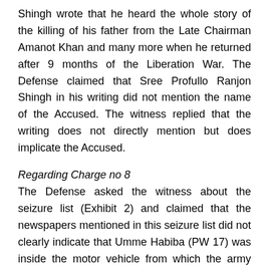Shingh wrote that he heard the whole story of the killing of his father from the Late Chairman Amanot Khan and many more when he returned after 9 months of the Liberation War. The Defense claimed that Sree Profullo Ranjon Shingh in his writing did not mention the name of the Accused. The witness replied that the writing does not directly mention but does implicate the Accused.
Regarding Charge no 8
The Defense asked the witness about the seizure list (Exhibit 2) and claimed that the newspapers mentioned in this seizure list did not clearly indicate that Umme Habiba (PW 17) was inside the motor vehicle from which the army personnel seized the victims, Sheikh Mozaffar Ahmed and Sheikh Alamgir, and took them to the nearby army camp. The witness replied that the newspaper did not describe in detail the persons who were present inside the motor